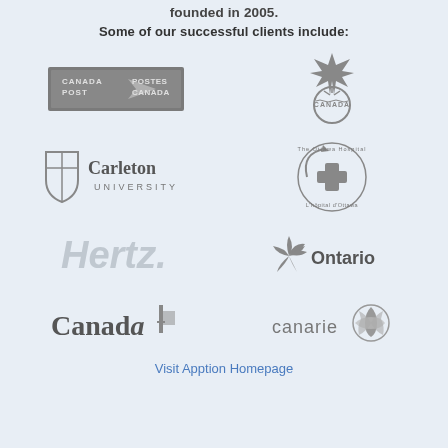founded in 2005.
Some of our successful clients include:
[Figure (logo): Canada Post / Postes Canada logo in grayscale]
[Figure (logo): Canada Soccer logo with maple leaf and soccer ball in grayscale]
[Figure (logo): Carleton University logo with shield and text in grayscale]
[Figure (logo): The Ottawa Hospital / L'Hôpital d'Ottawa circular logo in grayscale]
[Figure (logo): Hertz logo in light gray]
[Figure (logo): Ontario provincial logo with trillium flower in grayscale]
[Figure (logo): Canada wordmark with maple leaf flag in grayscale]
[Figure (logo): CANARIE logo with stylized flower in grayscale]
Visit Apption Homepage